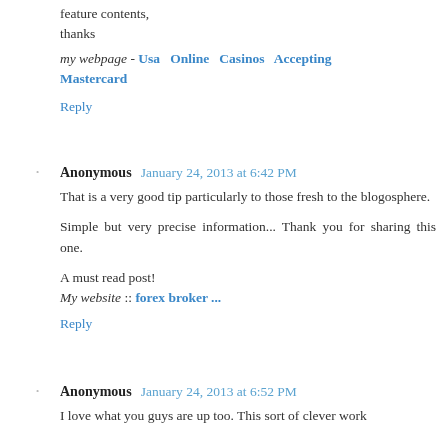feature contents,
thanks
my webpage - Usa Online Casinos Accepting Mastercard
Reply
Anonymous  January 24, 2013 at 6:42 PM
That is a very good tip particularly to those fresh to the blogosphere.
Simple but very precise information... Thank you for sharing this one.
A must read post!
My website :: forex broker ...
Reply
Anonymous  January 24, 2013 at 6:52 PM
I love what you guys are up too. This sort of clever work